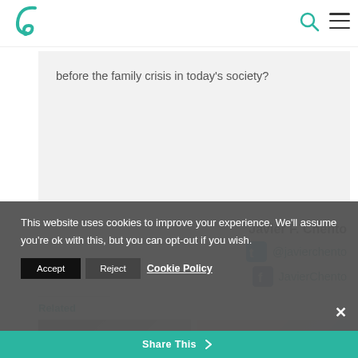F (logo) | search icon | menu icon
before the family crisis in today's society?
Javier F. Chento
@javierchento
JavierChento
Related
[Figure (photo): Two related article thumbnail images]
This website uses cookies to improve your experience. We'll assume you're ok with this, but you can opt-out if you wish.
Accept | Reject | Cookie Policy
Share This